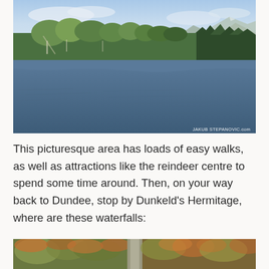[Figure (photo): Scenic loch with calm water in the foreground, a sandy/pebbly spit of land in the middle, green deciduous and coniferous trees on the far bank, and hills/mountains under a blue sky with light clouds. Watermark reads JAKUB STEPANOVIC.com in the lower right.]
This picturesque area has loads of easy walks, as well as attractions like the reindeer centre to spend some time around. Then, on your way back to Dundee, stop by Dunkeld's Hermitage, where are these waterfalls:
[Figure (photo): Partial view of an autumnal woodland scene with a path and waterfalls visible among orange and green foliage.]